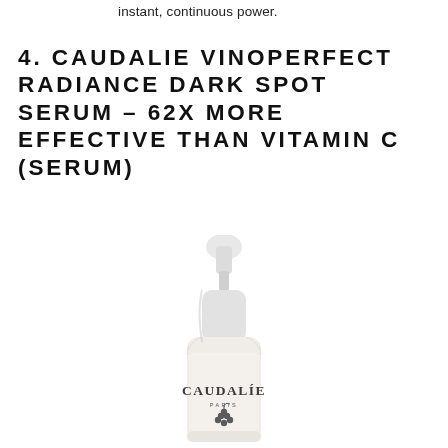instant, continuous power.
4. CAUDALIE VINOPERFECT RADIANCE DARK SPOT SERUM – 62X MORE EFFECTIVE THAN VITAMIN C (SERUM)
[Figure (photo): A white Caudalie dropper serum bottle with white cap and dropper bulb, labeled CAUDALÍE PARIS with a grape cluster logo, on white background.]